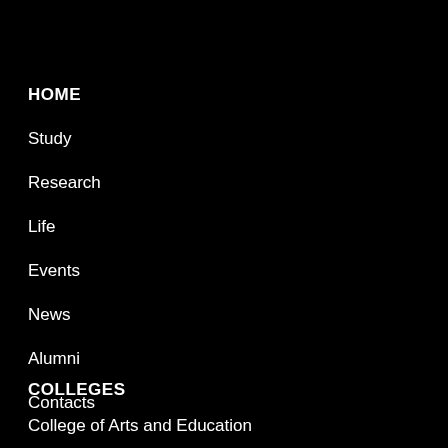HOME
Study
Research
Life
Events
News
Alumni
Contacts
COLLEGES
College of Arts and Education